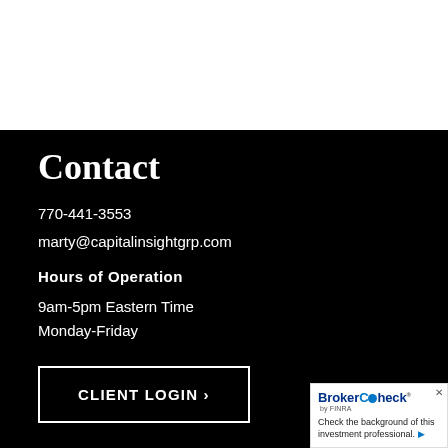Contact
770-441-3553
marty@capitalinsightgrp.com
Hours of Operation
9am-5pm Eastern Time
Monday-Friday
CLIENT LOGIN ›
Address
[Figure (logo): BrokerCheck by FINRA logo with text: Check the background of this investment professional.]